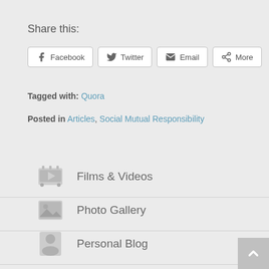Share this:
Facebook | Twitter | Email | More
Tagged with: Quora
Posted in Articles, Social Mutual Responsibility
Films & Videos
Photo Gallery
Personal Blog
Twitter
YouTube